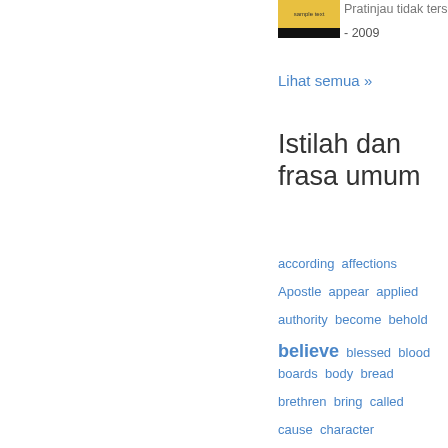[Figure (illustration): Book cover thumbnail with yellow and black colors, small image]
Pratinjau tidak terse- - 2009
Lihat semua »
Istilah dan frasa umum
according
affections
Apostle
appear
applied
authority
become
behold
believe
blessed
blood
boards
body
bread
brethren
bring
called
cause
character
Christian
coming
commanded
condemnation
consider
curse
dead
dear
death
difference
drink